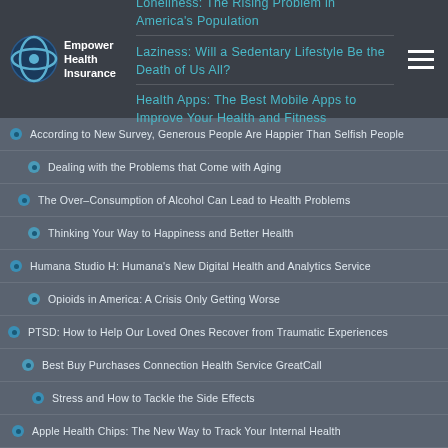Empower Health Insurance
Loneliness: The Rising Problem in America's Population
Laziness: Will a Sedentary Lifestyle Be the Death of Us All?
Health Apps: The Best Mobile Apps to Improve Your Health and Fitness
According to New Survey, Generous People Are Happier Than Selfish People
Dealing with the Problems that Come with Aging
The Over-Consumption of Alcohol Can Lead to Health Problems
Thinking Your Way to Happiness and Better Health
Humana Studio H: Humana's New Digital Health and Analytics Service
Opioids in America: A Crisis Only Getting Worse
PTSD: How to Help Our Loved Ones Recover from Traumatic Experiences
Best Buy Purchases Connection Health Service GreatCall
Stress and How to Tackle the Side Effects
Apple Health Chips: The New Way to Track Your Internal Health
Know What Causes Nosebleeds and How to Prevent Them
Healthcare Costs in America Compared to Other Countries
Will Healthcare Company Mergers Continue?
How Can Blockchain Usage in Modern Day Healthcare Help?
The Health Benefits of the Herbs and Spices You Use Every Day
Why You Should Cut Back on Supplements and Change Your Diet